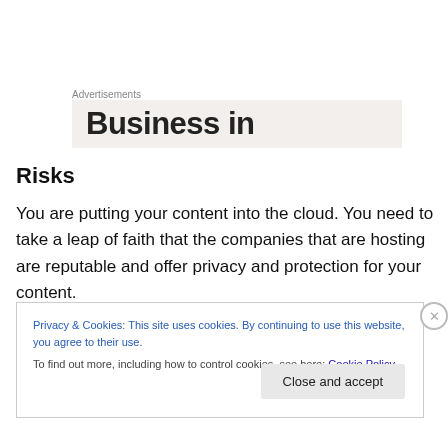Advertisements
[Figure (other): Advertisement banner showing partial text 'Business in' on a light beige background]
Risks
You are putting your content into the cloud. You need to take a leap of faith that the companies that are hosting are reputable and offer privacy and protection for your content.
Privacy & Cookies: This site uses cookies. By continuing to use this website, you agree to their use.
To find out more, including how to control cookies, see here: Cookie Policy
Close and accept